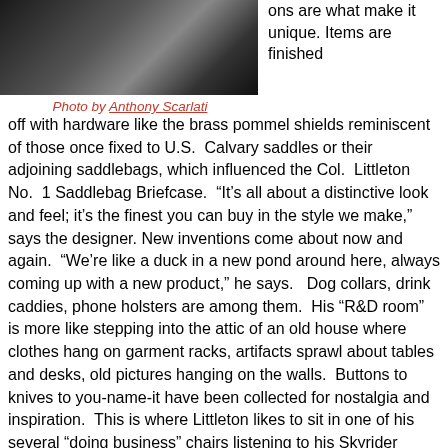[Figure (photo): Black and white photograph of people]
Photo by Anthony Scarlati
ons are what make it unique. Items are finished off with hardware like the brass pommel shields reminiscent of those once fixed to U.S. Calvary saddles or their adjoining saddlebags, which influenced the Col. Littleton No. 1 Saddlebag Briefcase. “It’s all about a distinctive look and feel; it’s the finest you can buy in the style we make,” says the designer. New inventions come about now and again. “We’re like a duck in a new pond around here, always coming up with a new product,” he says. Dog collars, drink caddies, phone holsters are among them. His “R&D room” is more like stepping into the attic of an old house where clothes hang on garment racks, artifacts sprawl about tables and desks, old pictures hanging on the walls. Buttons to knives to you-name-it have been collected for nostalgia and inspiration. This is where Littleton likes to sit in one of his several “doing business” chairs listening to his Skyrider short-wave radio, pondering ideas and where his staff will often meet to brainstorm. “In everything we do